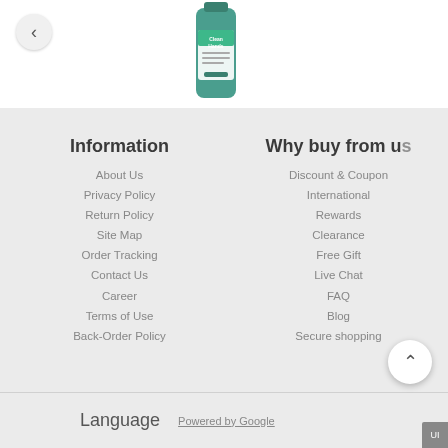[Figure (photo): Product bottle with 'Clean Hands' label, teal/green color]
Information
About Us
Privacy Policy
Return Policy
Site Map
Order Tracking
Contact Us
Career
Terms of Use
Back-Order Policy
Why buy from us
Discount & Coupon
International
Rewards
Clearance
Free Gift
Live Chat
FAQ
Blog
Secure shopping
Language   Powered by Google